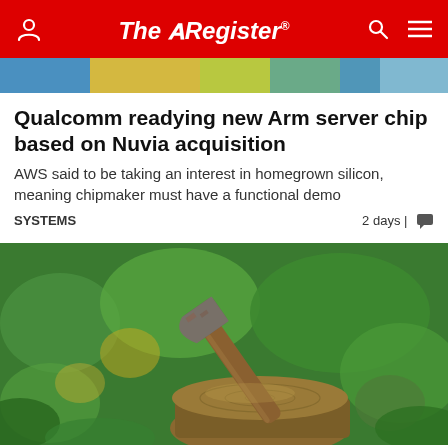The Register
[Figure (photo): Partial image at top of page showing colorful background with blue, yellow and green tones]
Qualcomm readying new Arm server chip based on Nuvia acquisition
AWS said to be taking an interest in homegrown silicon, meaning chipmaker must have a functional demo
SYSTEMS   2 days | [comment icon]
[Figure (photo): Photo of a rusty axe embedded in a wooden stump, with green foliage in the background]